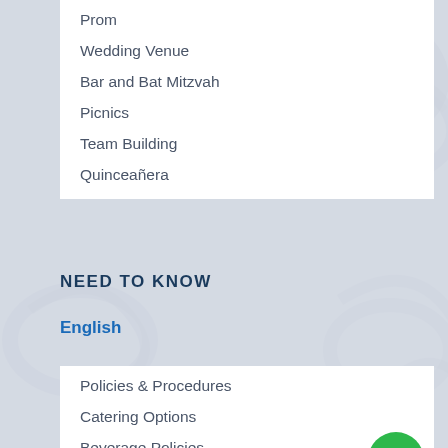Prom
Wedding Venue
Bar and Bat Mitzvah
Picnics
Team Building
Quinceañera
NEED TO KNOW
English
Policies & Procedures
Catering Options
Beverage Policies
Event Insurance